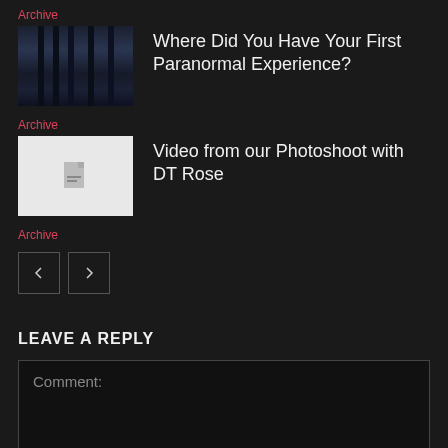Archive
[Figure (photo): Dark forest scene with tall trees and shadows]
Where Did You Have Your First Paranormal Experience?
Archive
[Figure (screenshot): White/light gray video placeholder with document icon]
Video from our Photoshoot with DT Rose
Archive
< >
LEAVE A REPLY
Comment: